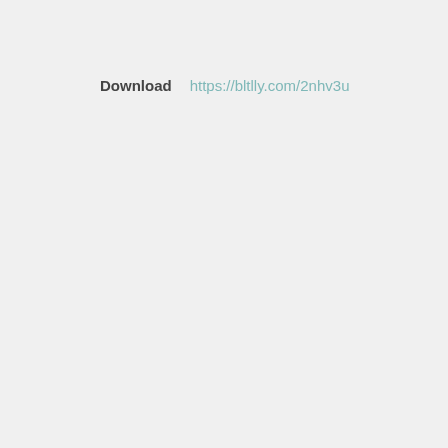Download   https://bltlly.com/2nhv3u